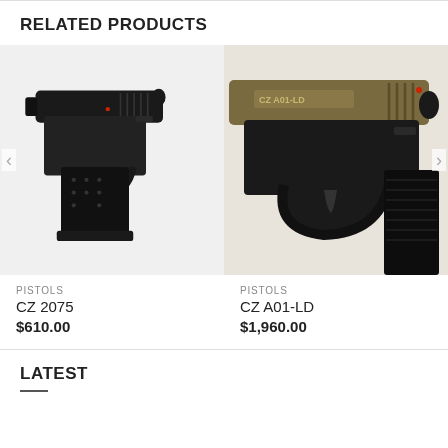RELATED PRODUCTS
[Figure (photo): Close-up photo of a CZ 2075 compact black pistol on white background]
[Figure (photo): Close-up photo of a CZ A01-LD pistol with tan/dark finish on white background]
PISTOLS
CZ 2075
$610.00
PISTOLS
CZ A01-LD
$1,960.00
LATEST